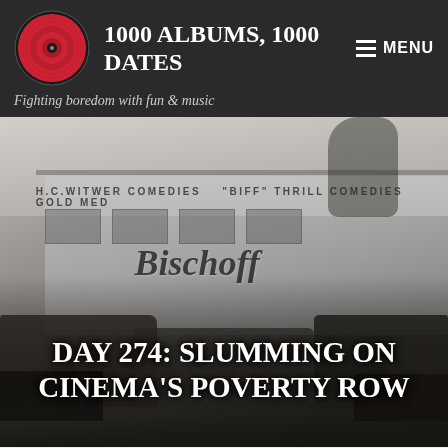1000 ALBUMS, 1000 DATES
Fighting boredom with fun & music
[Figure (photo): Black and white historical photograph of a building with signs reading 'H.C. Witwer Comedies', 'Biff Thrill Comedies', 'Gold Med[al]', and 'Bischoff' with vintage cars parked in front]
DAY 274: SLUMMING ON CINEMA'S POVERTY ROW
Follow